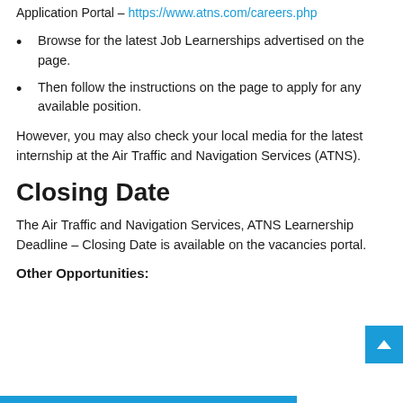Application Portal – https://www.atns.com/careers.php
Browse for the latest Job Learnerships advertised on the page.
Then follow the instructions on the page to apply for any available position.
However, you may also check your local media for the latest internship at the Air Traffic and Navigation Services (ATNS).
Closing Date
The Air Traffic and Navigation Services, ATNS Learnership Deadline – Closing Date is available on the vacancies portal.
Other Opportunities: